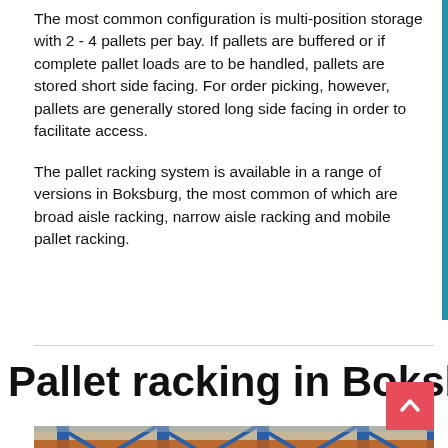The most common configuration is multi-position storage with 2 - 4 pallets per bay. If pallets are buffered or if complete pallet loads are to be handled, pallets are stored short side facing. For order picking, however, pallets are generally stored long side facing in order to facilitate access.
The pallet racking system is available in a range of versions in Boksburg, the most common of which are broad aisle racking, narrow aisle racking and mobile pallet racking.
Pallet racking in Boksburg
[Figure (photo): Photo of warehouse pallet racking system showing blue metal racking structure with orange beams inside a warehouse.]